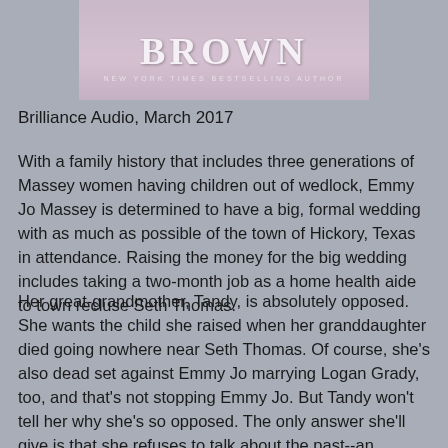[Figure (photo): Partial book cover showing the word BROWN in large serif letters and text NEW YORK TIMES BESTSELLING AUTHOR on a purple/lavender background]
Brilliance Audio, March 2017
With a family history that includes three generations of Massey women having children out of wedlock, Emmy Jo Massey is determined to have a big, formal wedding with as much as possible of the town of Hickory, Texas in attendance. Raising the money for the big wedding includes taking a two-month job as a home health aide to town recluse Seth Thomas.
Her great-grandmother, Tandy, is absolutely opposed. She wants the child she raised when her granddaughter died going nowhere near Seth Thomas. Of course, she's also dead set against Emmy Jo marrying Logan Grady, too, and that's not stopping Emmy Jo. But Tandy won't tell her why she's so opposed. The only answer she'll give is that she refuses to talk about the past--an answer that quite reasonably doesn't sway Emmy Jo to her point of view.